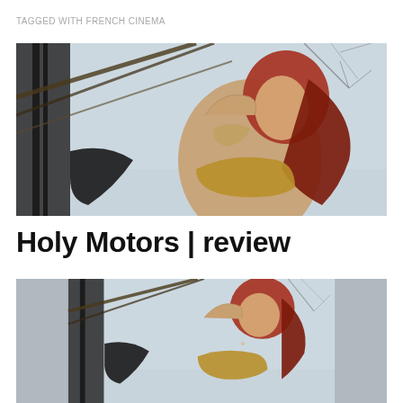TAGGED WITH FRENCH CINEMA
[Figure (photo): A woman with red hair in a golden top poses outdoors among bare trees and dark structural elements, photographed from a low angle against a pale sky.]
Holy Motors | review
[Figure (photo): The same woman with red hair in a golden top, similar low-angle outdoor photograph, partial crop showing face, arm, and upper body.]